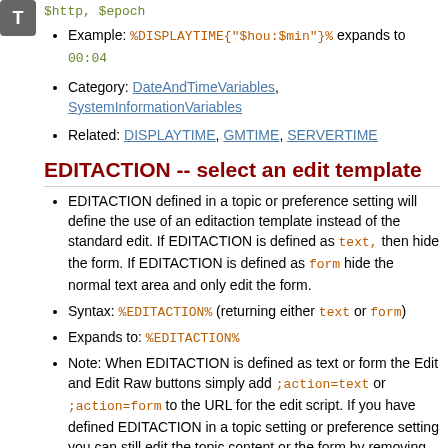[Figure (other): T icon/logo in top left corner]
$http, $epoch
Example: %DISPLAYTIME{"$hou:$min"}% expands to 00:04
Category: DateAndTimeVariables, SystemInformationVariables
Related: DISPLAYTIME, GMTIME, SERVERTIME
EDITACTION -- select an edit template
EDITACTION defined in a topic or preference setting will define the use of an editaction template instead of the standard edit. If EDITACTION is defined as text, then hide the form. If EDITACTION is defined as form hide the normal text area and only edit the form.
Syntax: %EDITACTION% (returning either text or form)
Expands to: %EDITACTION%
Note: When EDITACTION is defined as text or form the Edit and Edit Raw buttons simply add ;action=text or ;action=form to the URL for the edit script. If you have defined EDITACTION in a topic setting or preference setting you can still edit the topic content or the form by removing the ;action=form or ;action=text from the